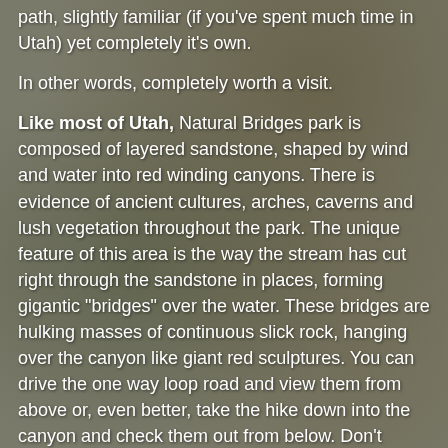path, slightly familiar (if you've spent much time in Utah) yet completely it's own.
In other words, completely worth a visit.
Like most of Utah, Natural Bridges park is composed of layered sandstone, shaped by wind and water into red winding canyons. There is evidence of ancient cultures, arches, caverns and lush vegetation throughout the park. The unique feature of this area is the way the stream has cut right through the sandstone in places, forming gigantic "bridges" over the water. These bridges are hulking masses of continuous slick rock, hanging over the canyon like giant red sculptures. You can drive the one way loop road and view them from above or, even better, take the hike down into the canyon and check them out from below. Don't stand there too long though; the bridges are prone to shedding bits and pieces. In fact, in June of 1992 4,000 tons of rock fell from the Kachina Bridge. The area is prone to earthquakes and flash floods, and every time we've visited we've been chased off the overlooks by thunderstorms. This place is not for the faint of heart.